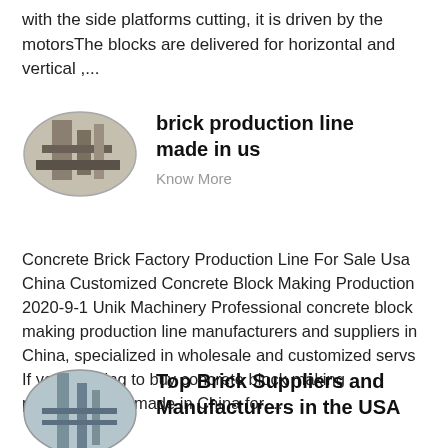with the side platforms cutting, it is driven by the motorsThe blocks are delivered for horizontal and vertical ,...
[Figure (photo): Oval-shaped photo of industrial brick production machinery]
brick production line made in us
Know More
Concrete Brick Factory Production Line For Sale Usa China Customized Concrete Block Making Production 2020-9-1 Unik Machinery Professional concrete block making production line manufacturers and suppliers in China, specialized in wholesale and customized servs If you re going to buy concrete block making production line made in China for ....
[Figure (photo): Oval-shaped photo of industrial brick supplier facility]
Top Brick Suppliers and Manufacturers in the USA